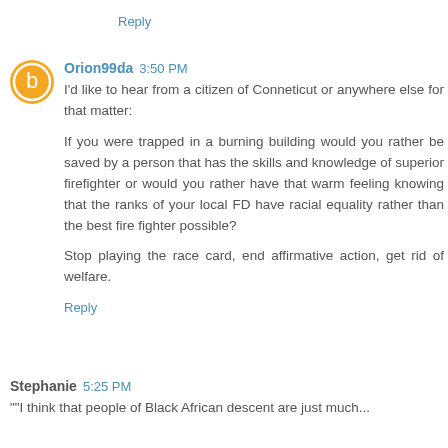Reply
Orion99da 3:50 PM
I'd like to hear from a citizen of Conneticut or anywhere else for that matter:

If you were trapped in a burning building would you rather be saved by a person that has the skills and knowledge of superior firefighter or would you rather have that warm feeling knowing that the ranks of your local FD have racial equality rather than the best fire fighter possible?

Stop playing the race card, end affirmative action, get rid of welfare.
Reply
Stephanie 5:25 PM
""I think that people of Black African descent are just much...